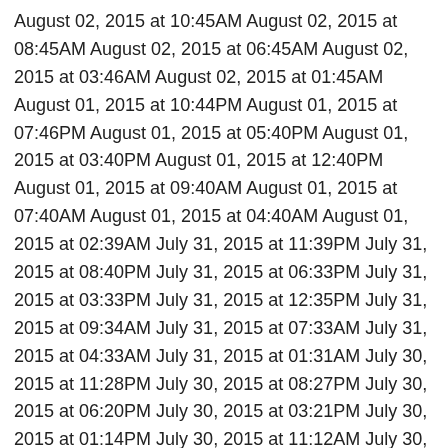August 02, 2015 at 10:45AM August 02, 2015 at 08:45AM August 02, 2015 at 06:45AM August 02, 2015 at 03:46AM August 02, 2015 at 01:45AM August 01, 2015 at 10:44PM August 01, 2015 at 07:46PM August 01, 2015 at 05:40PM August 01, 2015 at 03:40PM August 01, 2015 at 12:40PM August 01, 2015 at 09:40AM August 01, 2015 at 07:40AM August 01, 2015 at 04:40AM August 01, 2015 at 02:39AM July 31, 2015 at 11:39PM July 31, 2015 at 08:40PM July 31, 2015 at 06:33PM July 31, 2015 at 03:33PM July 31, 2015 at 12:35PM July 31, 2015 at 09:34AM July 31, 2015 at 07:33AM July 31, 2015 at 04:33AM July 31, 2015 at 01:31AM July 30, 2015 at 11:28PM July 30, 2015 at 08:27PM July 30, 2015 at 06:20PM July 30, 2015 at 03:21PM July 30, 2015 at 01:14PM July 30, 2015 at 11:12AM July 30, 2015 at 09:07AM July 30, 2015 at 06:10AM July 30, 2015 at 03:06AM July 30, 2015 at 01:06AM July 29, 2015 at 11:05PM July 29, 2015 at 08:07PM July 29, 2015 at 05:55PM July 29, 2015 at 02:55PM July 29, 2015 at 12:21PM July 29, 2015 at 10:06AM July 29, 2015 at 06:07AM July 29, 2015 at 04:08AM July 29, 2015 at 01:06AM July 28, 2015 at 10:06PM July 28, 2015 at 08:05PM July 28, 2015 at